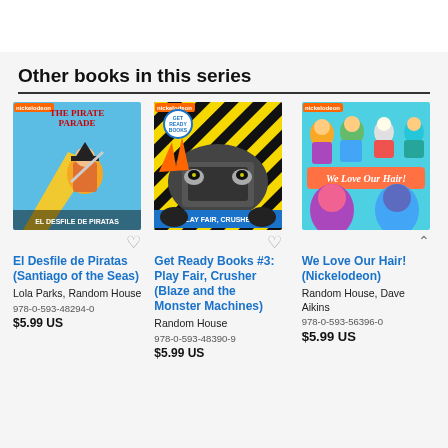Other books in this series
[Figure (illustration): Book cover: El Desfile de Piratas (Santiago of the Seas) - colorful children's book cover with pirate theme]
[Figure (illustration): Book cover: Get Ready Books #3: Play Fair, Crusher (Blaze and the Monster Machines) - monster truck themed cover]
[Figure (illustration): Book cover: We Love Our Hair! (Nickelodeon) - colorful cover with cartoon children characters]
El Desfile de Piratas (Santiago of the Seas)
Lola Parks, Random House
978-0-593-48294-0
$5.99 US
Get Ready Books #3: Play Fair, Crusher (Blaze and the Monster Machines)
Random House
978-0-593-48390-9
$5.99 US
We Love Our Hair! (Nickelodeon)
Random House, Dave Aikins
978-0-593-56396-0
$5.99 US